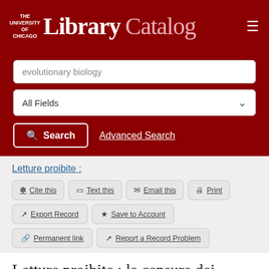The University of Chicago Library Catalog
evolutionary biology
All Fields
Search   Advanced Search
Letture proibite :
✽ Cite this   ☐ Text this   ✉ Email this   ⊜ Print
↗ Export Record   ★ Save to Account
% Permanent link   ↗ Report a Record Problem
Letture proibite : la censura dei